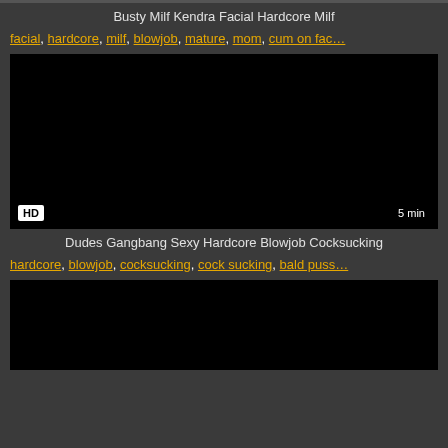Busty Milf Kendra Facial Hardcore Milf
facial, hardcore, milf, blowjob, mature, mom, cum on fac…
[Figure (screenshot): Black video thumbnail with HD badge bottom-left and '5 min' duration badge bottom-right]
Dudes Gangbang Sexy Hardcore Blowjob Cocksucking
hardcore, blowjob, cocksucking, cock sucking, bald puss…
[Figure (screenshot): Black video thumbnail, partially visible at bottom of page]